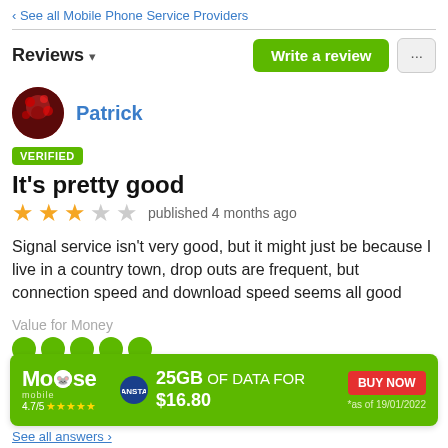‹ See all Mobile Phone Service Providers
Reviews ▾
Patrick
VERIFIED
It's pretty good
★★★☆☆ published 4 months ago
Signal service isn't very good, but it might just be because I live in a country town, drop outs are frequent, but connection speed and download speed seems all good
Value for Money
[Figure (other): Advertisement banner for Moose Mobile: 25GB OF DATA FOR $16.80, BUY NOW, 4.7/5 stars, *as of 19/01/2022]
See all answers